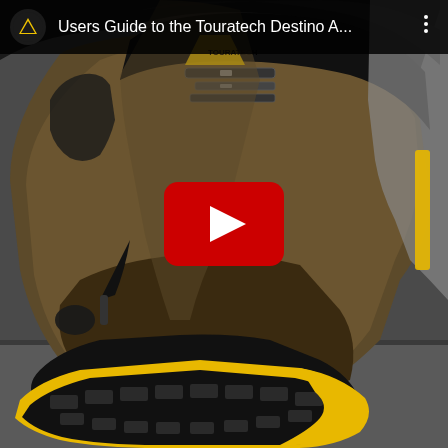[Figure (screenshot): YouTube video thumbnail showing a close-up of a Touratech Destino Adventure motorcycle boot sole in black and yellow, with a person's leg visible. A YouTube play button overlay is centered on the image. A dark top bar displays the Touratech logo (yellow mountain triangle on black circle), the title 'Users Guide to the Touratech Destino A...', and a vertical dots menu icon.]